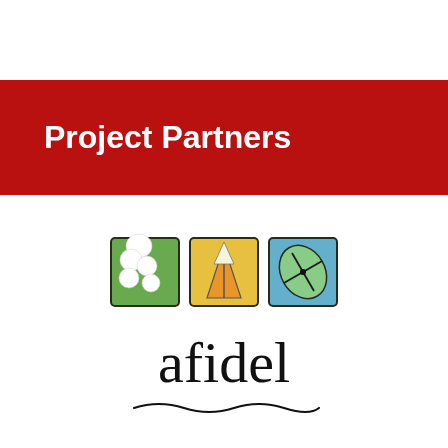Project Partners
[Figure (logo): Afidel logo: three illustrated square icons (green with puzzle/leaf, yellow with tent/person, blue with compass) above the word 'afidel' in serif font with a wavy underline]